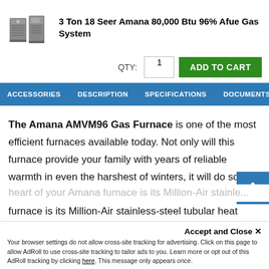[Figure (photo): Product image of HVAC system units - air conditioner and furnace]
3 Ton 18 Seer Amana 80,000 Btu 96% Afue Gas System
QTY: 1  ADD TO CART
ACCESSORIES  DESCRIPTION  SPECIFICATIONS  DOCUMENTS  P
The Amana AMVM96 Gas Furnace is one of the most efficient furnaces available today. Not only will this furnace provide your family with years of reliable warmth in even the harshest of winters, it will do so with up to 96 AFUE efficiency. The heart of your Amana furnace is its Million-Air stainless-steel tubular heat exchanger. Formed using dual-diameter pipe and wrinkle bend technologies, the Million-Air is built to last. The
Accept and Close ✕  Your browser settings do not allow cross-site tracking for advertising. Click on this page to allow AdRoll to use cross-site tracking to tailor ads to you. Learn more or opt out of this AdRoll tracking by clicking here. This message only appears once.